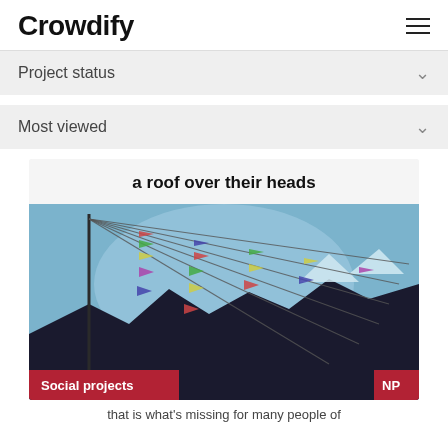Crowdify
Project status
Most viewed
a roof over their heads
[Figure (photo): Photo of Tibetan/Himalayan prayer flags strung on lines against a blue sky with snow-capped mountains in the background. Red badge at bottom-left reads 'Social projects', red badge at bottom-right reads 'NP'.]
that is what's missing for many people of